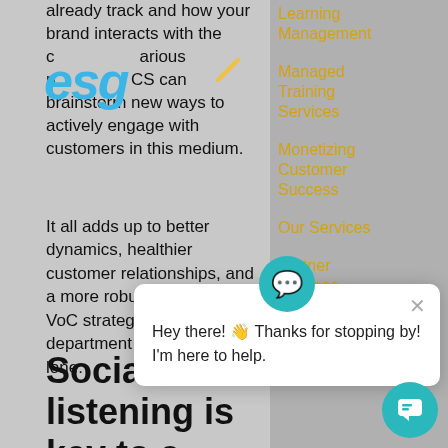already track and how your brand interacts with the community on various platforms. Then, CS can brainstorm new ways to actively engage with customers in this medium.
[Figure (logo): esg logo in blue italic text overlaid on left column]
It all adds up to better dynamics, healthier customer relationships, and a more robust social media VoC strategy than if either department was going alone.
Social listening is key to a strong VoC
Learning Management
Managed Training Services
Monetizing Customer Success
Our Services
Partner Success
Virtual Customer Success
Hey there! 👋 Thanks for stopping by! I'm here to help.